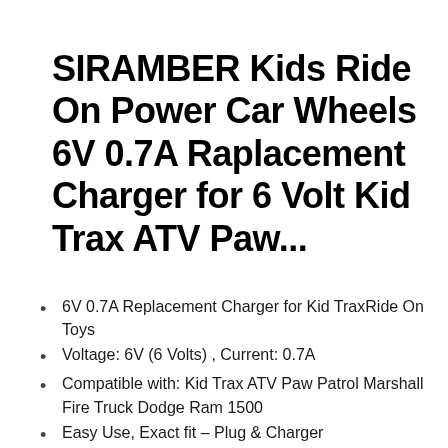SIRAMBER Kids Ride On Power Car Wheels 6V 0.7A Raplacement Charger for 6 Volt Kid Trax ATV Paw...
6V 0.7A Replacement Charger for Kid TraxRide On Toys
Voltage: 6V (6 Volts) , Current: 0.7A
Compatible with: Kid Trax ATV Paw Patrol Marshall Fire Truck Dodge Ram 1500
Easy Use, Exact fit – Plug & Charger
Quickly charge the battery immediately – 1 Year Replacement Warranty!